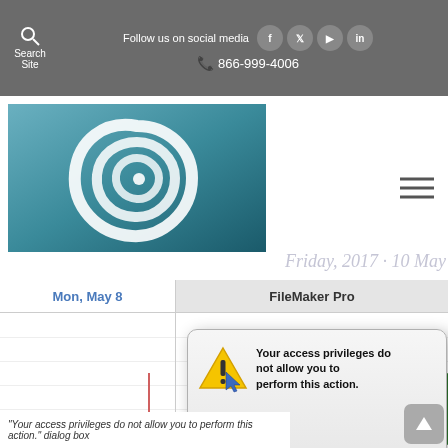Search Site | Follow us on social media | 866-999-4006
[Figure (logo): Paradise Partners Inc logo with teal spiral swirl graphic and company name below]
[Figure (screenshot): Calendar view showing Mon, May 8 column and FileMaker Pro dialog with 'Your access privileges do not allow you to perform this action.' warning dialog box overlay on a calendar with green bar chart entries]
"Your access privileges do not allow you to perform this action." dialog box